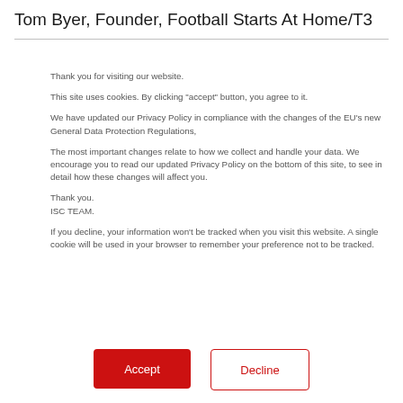Tom Byer, Founder, Football Starts At Home/T3
Thank you for visiting our website.
This site uses cookies. By clicking "accept" button, you agree to it.
We have updated our Privacy Policy in compliance with the changes of the EU's new General Data Protection Regulations,
The most important changes relate to how we collect and handle your data. We encourage you to read our updated Privacy Policy on the bottom of this site, to see in detail how these changes will affect you.
Thank you.
ISC TEAM.
If you decline, your information won't be tracked when you visit this website. A single cookie will be used in your browser to remember your preference not to be tracked.